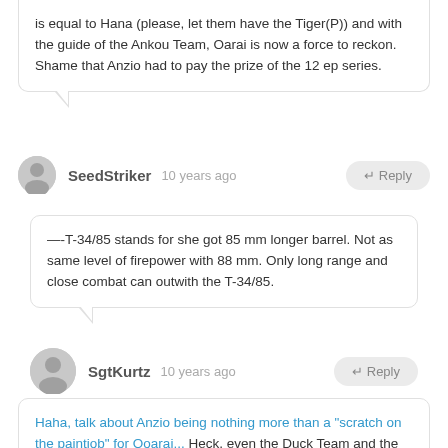is equal to Hana (please, let them have the Tiger(P)) and with the guide of the Ankou Team, Oarai is now a force to reckon. Shame that Anzio had to pay the prize of the 12 ep series.
SeedStriker   10 years ago   ← Reply
—-T-34/85 stands for she got 85 mm longer barrel. Not as same level of firepower with 88 mm. Only long range and close combat can outwith the T-34/85.
SgtKurtz   10 years ago   ← Reply
Haha, talk about Anzio being nothing more than a "scratch on the paintjob" for Ooarai... Heck, even the Duck Team and the Rabbit Team might have been able to get a "kill" in that match